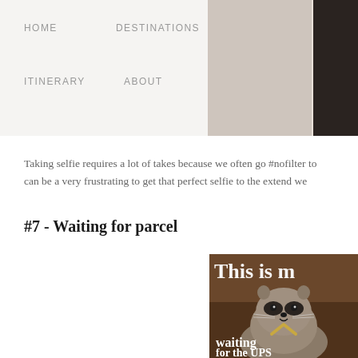HOME   DESTINATIONS   HOTEL   ITINERARY   ABOUT
Taking selfie requires a lot of takes because we often go #nofilter to can be a very frustrating to get that perfect selfie to the extend we
#7 - Waiting for parcel
[Figure (photo): Meme image of a raccoon with text 'This is m' at top and 'waiting for the UPS' at bottom, with a gold chevron symbol]